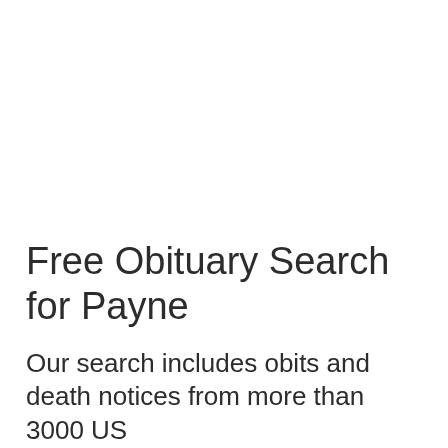Free Obituary Search for Payne
Our search includes obits and death notices from more than 3000 US